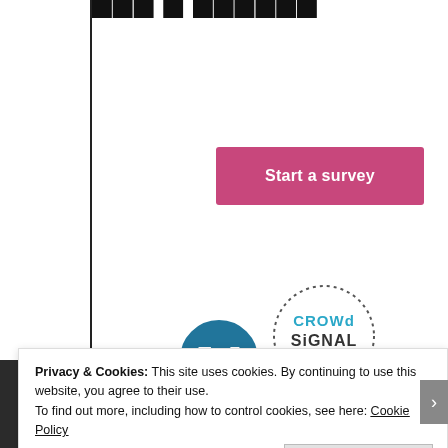Start a survey (partially visible at top)
[Figure (illustration): Pink/magenta rounded rectangle button labeled 'Start a survey']
[Figure (logo): WordPress logo - dark circular W mark]
[Figure (logo): Crowd Signal logo - dotted circle border with CROWd SiGNAL text in cyan/teal]
Privacy & Cookies: This site uses cookies. By continuing to use this website, you agree to their use.
To find out more, including how to control cookies, see here: Cookie Policy
Close and accept